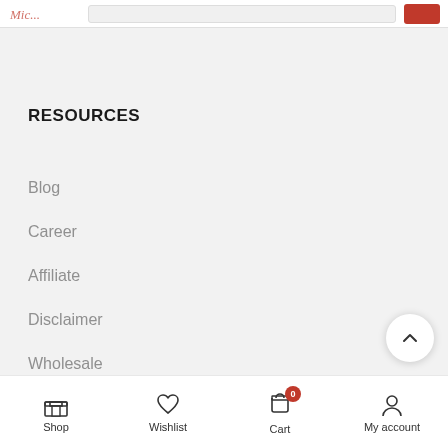Header navigation with logo, search bar, and search button
RESOURCES
Blog
Career
Affiliate
Disclaimer
Wholesale
Shop | Wishlist | Cart (0) | My account